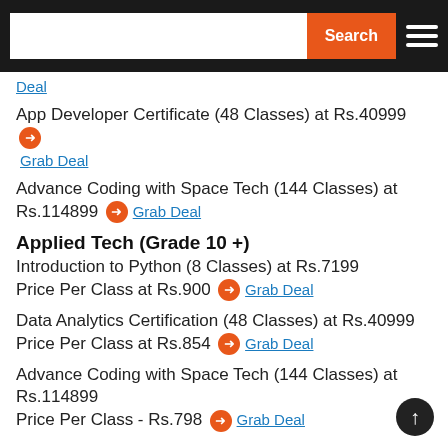Search
Deal
App Developer Certificate (48 Classes) at Rs.40999 → Grab Deal
Advance Coding with Space Tech (144 Classes) at Rs.114899 → Grab Deal
Applied Tech (Grade 10 +)
Introduction to Python (8 Classes) at Rs.7199 Price Per Class at Rs.900 → Grab Deal
Data Analytics Certification (48 Classes) at Rs.40999 Price Per Class at Rs.854 → Grab Deal
Advance Coding with Space Tech (144 Classes) at Rs.114899 Price Per Class - Rs.798 → Grab Deal